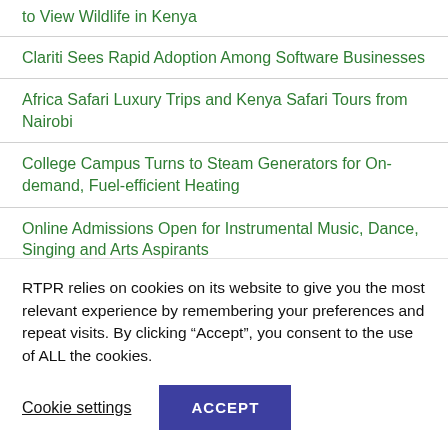to View Wildlife in Kenya
Clariti Sees Rapid Adoption Among Software Businesses
Africa Safari Luxury Trips and Kenya Safari Tours from Nairobi
College Campus Turns to Steam Generators for On-demand, Fuel-efficient Heating
Online Admissions Open for Instrumental Music, Dance, Singing and Arts Aspirants
EnSuite-Cloud ReVue Revue Goes All in on Optimizing Design Reviews Using CAD Assemblies
Klaivi Hair Announcer Summer Trends Discount Sales From May 24
RTPR relies on cookies on its website to give you the most relevant experience by remembering your preferences and repeat visits. By clicking “Accept”, you consent to the use of ALL the cookies.